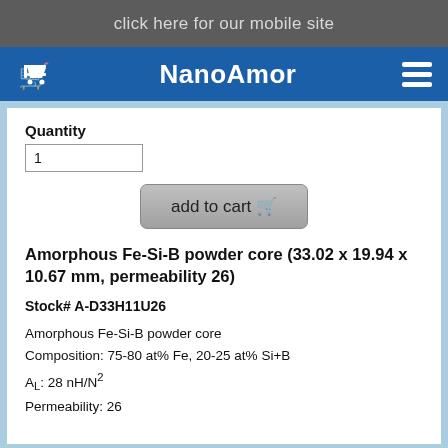click here for our mobile site
NanoAmor
Quantity
1
add to cart
Amorphous Fe-Si-B powder core (33.02 x 19.94 x 10.67 mm, permeability 26)
Stock# A-D33H11U26
Amorphous Fe-Si-B powder core
Composition: 75-80 at% Fe, 20-25 at% Si+B
AL: 28 nH/N2
Permeability: 26